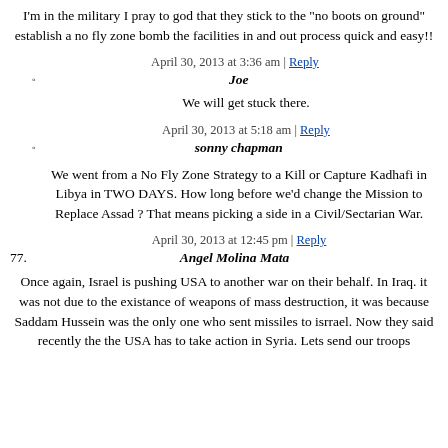I'm in the military I pray to god that they stick to the "no boots on ground" establish a no fly zone bomb the facilities in and out process quick and easy!!
April 30, 2013 at 3:36 am | Reply
Joe
We will get stuck there.
April 30, 2013 at 5:18 am | Reply
sonny chapman
We went from a No Fly Zone Strategy to a Kill or Capture Kadhafi in Libya in TWO DAYS. How long before we'd change the Mission to Replace Assad ? That means picking a side in a Civil/Sectarian War.
April 30, 2013 at 12:45 pm | Reply
Angel Molina Mata
Once again, Israel is pushing USA to another war on their behalf. In Iraq. it was not due to the existance of weapons of mass destruction, it was because Saddam Hussein was the only one who sent missiles to isrrael. Now they said recently the the USA has to take action in Syria. Lets send our troops